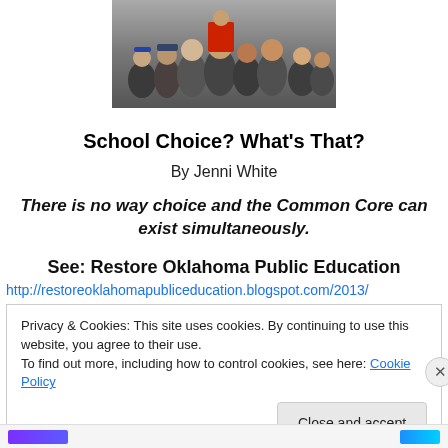[Figure (photo): Crowd of people, appears to be a public gathering or protest]
School Choice?  What's That?
By Jenni White
There is no way choice and the Common Core can exist simultaneously.
See:  Restore Oklahoma Public Education
http://restoreoklahomapubliceducation.blogspot.com/2013/
Privacy & Cookies: This site uses cookies. By continuing to use this website, you agree to their use.
To find out more, including how to control cookies, see here: Cookie Policy